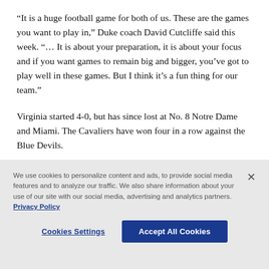“It is a huge football game for both of us. These are the games you want to play in,” Duke coach David Cutcliffe said this week. “… It is about your preparation, it is about your focus and if you want games to remain big and bigger, you’ve got to play well in these games. But I think it’s a fun thing for our team.”
Virginia started 4-0, but has since lost at No. 8 Notre Dame and Miami. The Cavaliers have won four in a row against the Blue Devils.
We use cookies to personalize content and ads, to provide social media features and to analyze our traffic. We also share information about your use of our site with our social media, advertising and analytics partners. Privacy Policy
Cookies Settings
Accept All Cookies